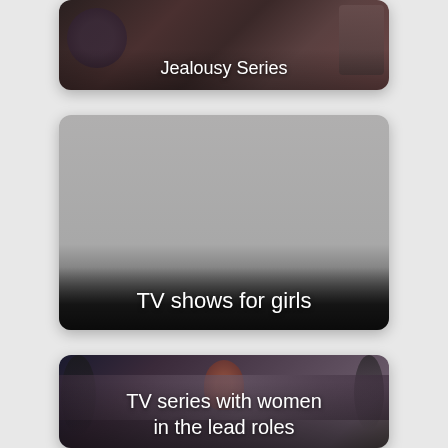[Figure (screenshot): Card with dark dramatic background showing 'Jealousy Series' label at bottom]
[Figure (screenshot): Card with grey/dark gradient placeholder background showing 'TV shows for girls' label at bottom]
[Figure (screenshot): Card with dark fantasy TV show imagery showing 'TV series with women in the lead roles' label at bottom (partially visible)]